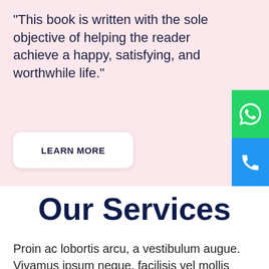"This book is written with the sole objective of helping the reader achieve a happy, satisfying, and worthwhile life."
LEARN MORE
Our Services
Proin ac lobortis arcu, a vestibulum augue. Vivamus ipsum neque, facilisis vel mollis vitae, mollis nec